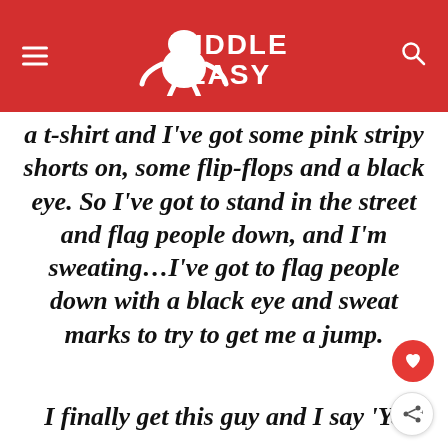MIDDLE EASY
a t-shirt and I’ve got some pink stripy shorts on, some flip-flops and a black eye. So I’ve got to stand in the street and flag people down, and I’m sweating…I’ve got to flag people down with a black eye and sweat marks to try to get me a jump.
I finally get this guy and I say ‘Yo